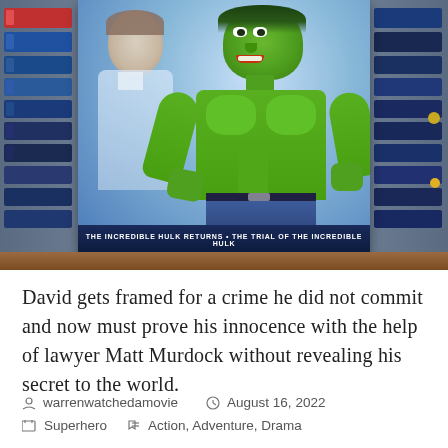[Figure (photo): DVD cover of 'The Incredible Hulk Returns' and 'The Trial of the Incredible Hulk' placed on a wooden shelf surrounded by stacks of VHS tapes and DVDs on both sides. The DVD cover shows the Hulk (green muscular figure) and a human character (David Banner). The bottom of the DVD case reads: 'THE INCREDIBLE HULK RETURNS • THE TRIAL OF THE INCREDIBLE HULK'.]
David gets framed for a crime he did not commit and now must prove his innocence with the help of lawyer Matt Murdock without revealing his secret to the world.
warrenwatchedamovie   August 16, 2022   Superhero   Action, Adventure, Drama